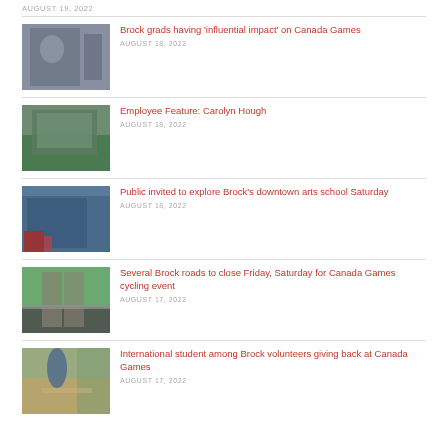AUGUST 19, 2022
Brock grads having 'influential impact' on Canada Games — AUGUST 18, 2022
Employee Feature: Carolyn Hough — AUGUST 18, 2022
Public invited to explore Brock's downtown arts school Saturday — AUGUST 18, 2022
Several Brock roads to close Friday, Saturday for Canada Games cycling event — AUGUST 17, 2022
International student among Brock volunteers giving back at Canada Games — AUGUST 17, 2022